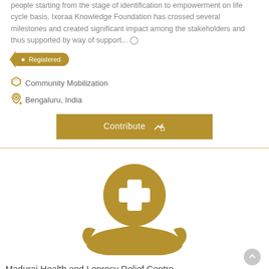people starting from the stage of identification to empowerment on life cycle basis. Ixoraa Knowledge Foundation has crossed several milestones and created significant impact among the stakeholders and thus supported by way of support... ⊙
Registered
Community Mobilization
Bengaluru, India
Contribute
[Figure (illustration): Gold-colored medical cross inside a circle held above an open hand, serving as an icon for a health organization.]
Madurai Health and Leprosy Relief Centre